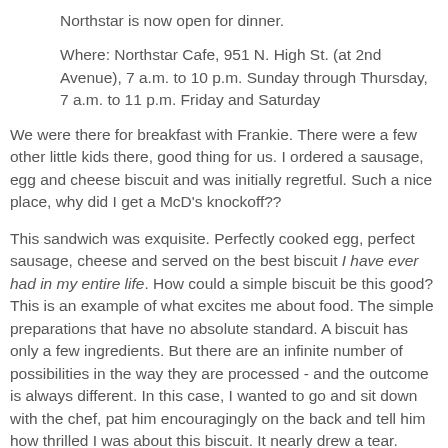Northstar is now open for dinner.
Where: Northstar Cafe, 951 N. High St. (at 2nd Avenue), 7 a.m. to 10 p.m. Sunday through Thursday, 7 a.m. to 11 p.m. Friday and Saturday
We were there for breakfast with Frankie. There were a few other little kids there, good thing for us. I ordered a sausage, egg and cheese biscuit and was initially regretful. Such a nice place, why did I get a McD's knockoff??
This sandwich was exquisite. Perfectly cooked egg, perfect sausage, cheese and served on the best biscuit I have ever had in my entire life. How could a simple biscuit be this good? This is an example of what excites me about food. The simple preparations that have no absolute standard. A biscuit has only a few ingredients. But there are an infinite number of possibilities in the way they are processed - and the outcome is always different. In this case, I wanted to go and sit down with the chef, pat him encouragingly on the back and tell him how thrilled I was about this biscuit. It nearly drew a tear.